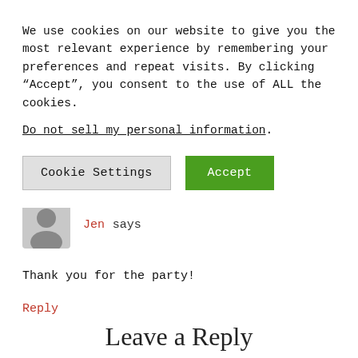We use cookies on our website to give you the most relevant experience by remembering your preferences and repeat visits. By clicking “Accept”, you consent to the use of ALL the cookies.
Do not sell my personal information.
Cookie Settings
Accept
Jen says
Thank you for the party!
Reply
Leave a Reply